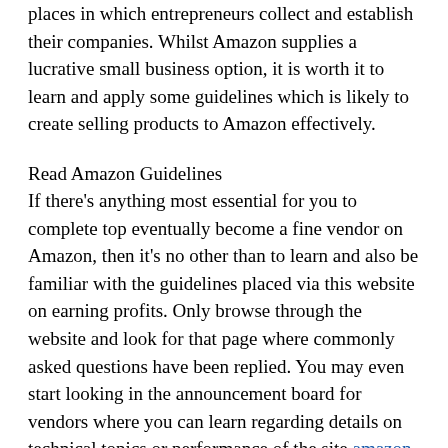places in which entrepreneurs collect and establish their companies. Whilst Amazon supplies a lucrative small business option, it is worth it to learn and apply some guidelines which is likely to create selling products to Amazon effectively.
Read Amazon Guidelines
If there's anything most essential for you to complete top eventually become a fine vendor on Amazon, then it's no other than to learn and also be familiar with the guidelines placed via this website on earning profits. Only browse through the website and look for that page where commonly asked questions have been replied. You may even start looking in the announcement board for vendors where you can learn regarding details on technical topics or performance of the site amazon selling tips blog.
Listing Items/Manage Stock